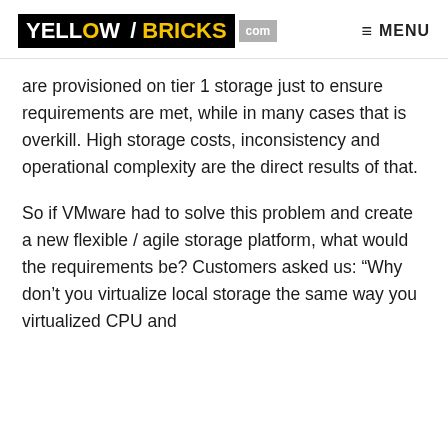YELLOW/BRICKS .com   ≡ MENU
are provisioned on tier 1 storage just to ensure requirements are met, while in many cases that is overkill. High storage costs, inconsistency and operational complexity are the direct results of that.
So if VMware had to solve this problem and create a new flexible / agile storage platform, what would the requirements be? Customers asked us: “Why don’t you virtualize local storage the same way you virtualized CPU and